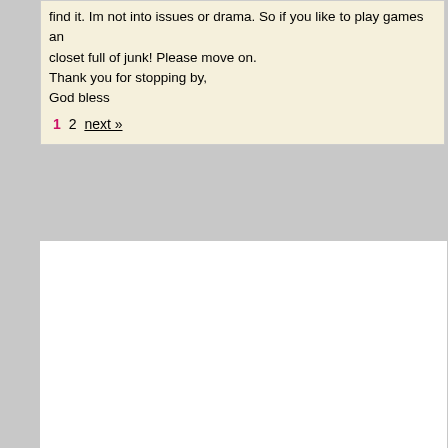find it. Im not into issues or drama. So if you like to play games and have a closet full of junk! Please move on.
Thank you for stopping by,
God bless
1  2  next »